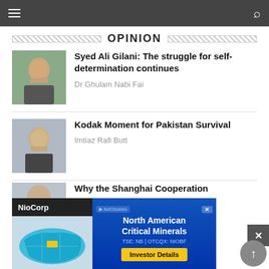Navigation bar with hamburger menu and search icon
OPINION
Syed Ali Gilani: The struggle for self-determination continues
Dr Ghulam Nabi Fai
Kodak Moment for Pakistan Survival
Imtiaz Rafi Butt
Why the Shanghai Cooperation
[Figure (photo): Portrait photo of older man with glasses in suit]
[Figure (photo): Portrait photo of man with glasses in suit]
[Figure (photo): Partial photo visible behind advertisement]
[Figure (infographic): NioCorp North American Critical Minerals advertisement with US map, TSE: NB OTCQX: NIOBF, Investor Details button]